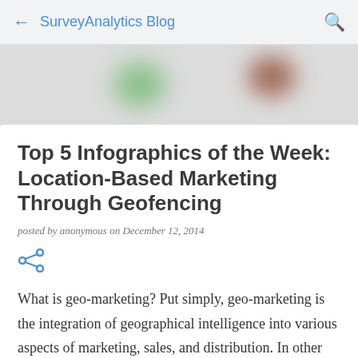← SurveyAnalytics Blog 🔍
[Figure (photo): Blurred banner image with green and brown blobs on grey background]
Top 5 Infographics of the Week: Location-Based Marketing Through Geofencing
posted by anonymous on December 12, 2014
[Figure (other): Share icon (arrow/share symbol) in blue]
What is geo-marketing? Put simply, geo-marketing is the integration of geographical intelligence into various aspects of marketing, sales, and distribution. In other words, it is the